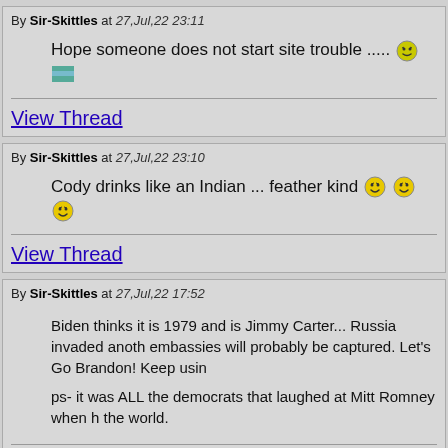By Sir-Skittles at 27,Jul,22 23:11
Hope someone does not start site trouble .....
View Thread
By Sir-Skittles at 27,Jul,22 23:10
Cody drinks like an Indian ... feather kind
View Thread
By Sir-Skittles at 27,Jul,22 17:52
Biden thinks it is 1979 and is Jimmy Carter... Russia invaded anoth embassies will probably be captured. Let's Go Brandon! Keep usin
ps- it was ALL the democrats that laughed at Mitt Romney when h the world.
View Thread